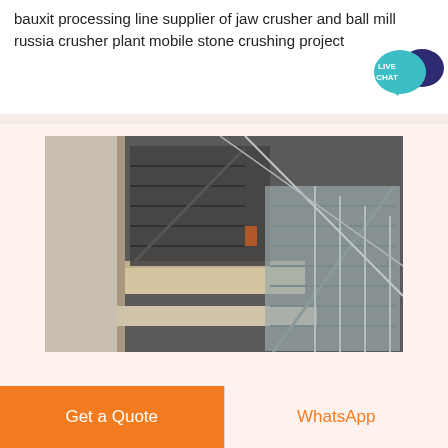bauxit processing line supplier of jaw crusher and ball mill russia crusher plant mobile stone crushing project
[Figure (photo): Industrial staircase structure with metal stairs, concrete walls and steel railings at a construction or processing facility]
Get a Quote
WhatsApp